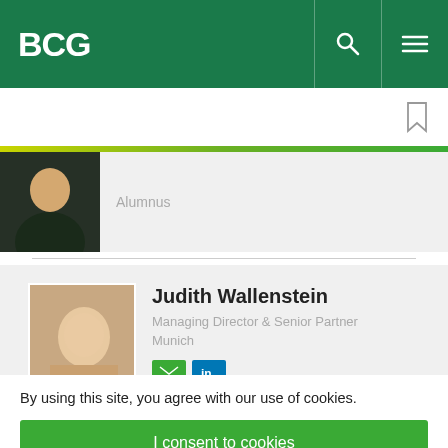BCG
Alumnus
Judith Wallenstein
Managing Director & Senior Partner
Munich
By using this site, you agree with our use of cookies.
I consent to cookies
Want to know more?
Read our Cookie Policy